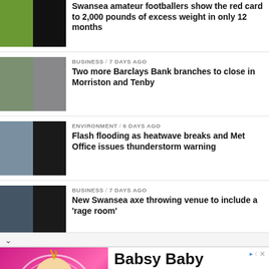Swansea amateur footballers show the red card to 2,000 pounds of excess weight in only 12 months
BUSINESS / 7 days ago — Two more Barclays Bank branches to close in Morriston and Tenby
ENVIRONMENT / 6 days ago — Flash flooding as heatwave breaks and Met Office issues thunderstorm warning
BUSINESS / 7 days ago — New Swansea axe throwing venue to include a 'rage room'
[Figure (infographic): Advertisement banner for Babsy Baby singing Twinkle app by Kaufcom GmbH, with cartoon baby image on pink background and Open button]